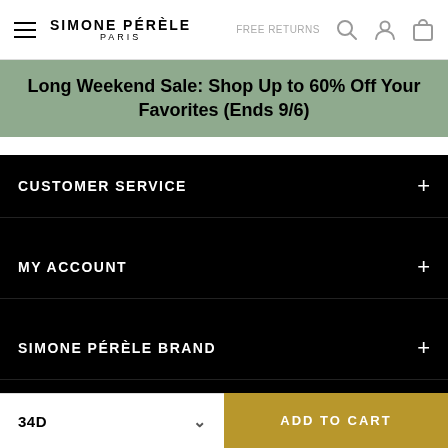SIMONE PÉRÈLE PARIS — FREE SHIPPING — FREE RETURNS
Long Weekend Sale: Shop Up to 60% Off Your Favorites (Ends 9/6)
CUSTOMER SERVICE
MY ACCOUNT
SIMONE PÉRÈLE BRAND
FOLLOW US
Sign Up for Texts
34D — ADD TO CART